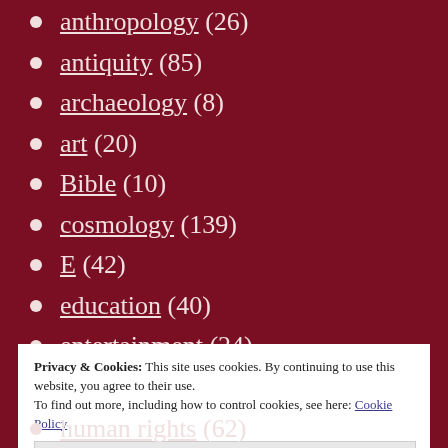anthropology (26)
antiquity (85)
archaeology (8)
art (20)
Bible (10)
cosmology (139)
E (42)
education (40)
entertainment (24)
F (33)
folklore (16)
Privacy & Cookies: This site uses cookies. By continuing to use this website, you agree to their use.
To find out more, including how to control cookies, see here: Cookie Policy
Close and accept
human rights (62)